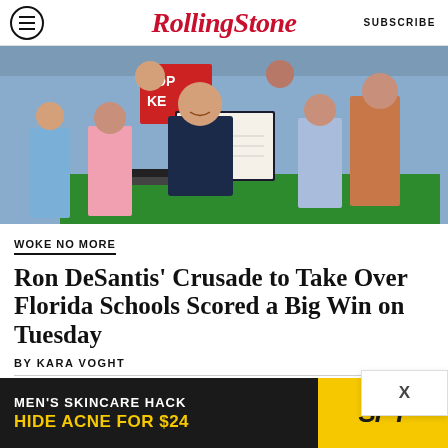RollingStone SUBSCRIBE
[Figure (photo): Ron DeSantis holding up a signed document flanked by children at a signing ceremony, with a 'Stop Woke' sign visible in the background]
WOKE NO MORE
Ron DeSantis' Crusade to Take Over Florida Schools Scored a Big Win on Tuesday
BY KARA VOGHT
[Figure (infographic): Advertisement: MEN'S SKINCARE HACK HIDE ACNE FOR $24 / SPY]